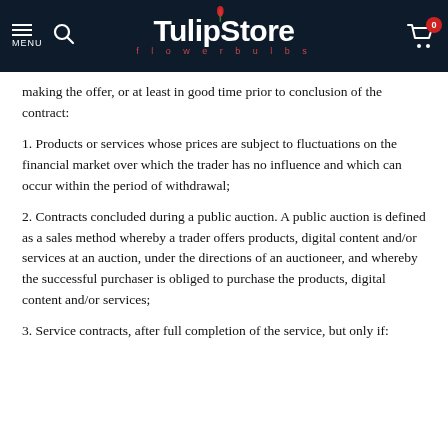TulipStore flowerbulbs
making the offer, or at least in good time prior to conclusion of the contract:
1. Products or services whose prices are subject to fluctuations on the financial market over which the trader has no influence and which can occur within the period of withdrawal;
2. Contracts concluded during a public auction. A public auction is defined as a sales method whereby a trader offers products, digital content and/or services at an auction, under the directions of an auctioneer, and whereby the successful purchaser is obliged to purchase the products, digital content and/or services;
3. Service contracts, after full completion of the service, but only if: